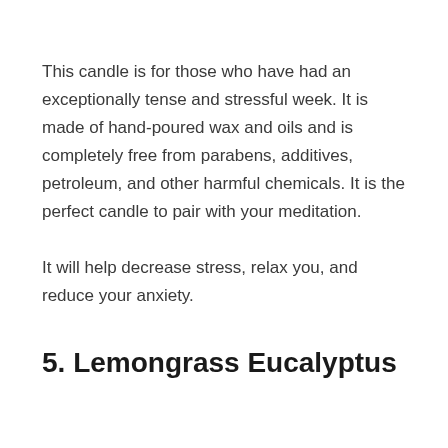This candle is for those who have had an exceptionally tense and stressful week. It is made of hand-poured wax and oils and is completely free from parabens, additives, petroleum, and other harmful chemicals. It is the perfect candle to pair with your meditation.
It will help decrease stress, relax you, and reduce your anxiety.
5. Lemongrass Eucalyptus